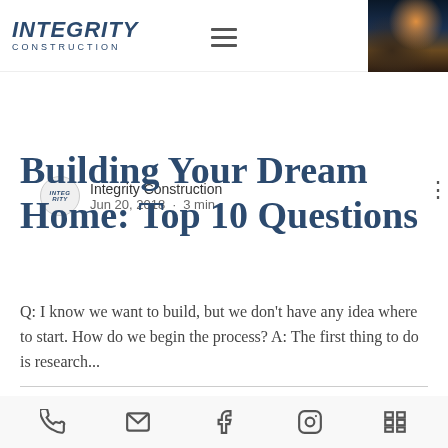INTEGRITY CONSTRUCTION
Integrity Construction
Jun 20, 2018 · 3 min
Building Your Dream Home: Top 10 Questions
Q: I know we want to build, but we don't have any idea where to start. How do we begin the process? A: The first thing to do is research...
[phone] [email] [facebook] [instagram] [menu]